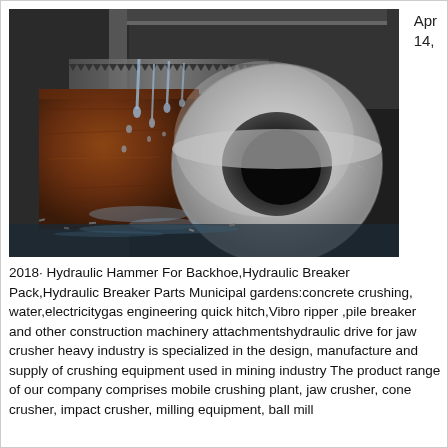Apr 14,
[Figure (photo): Close-up photograph of a metal cylindrical bushing or ring component being machined or cut, with water/coolant spray visible. The part appears to be a hydraulic breaker component. Background shows industrial machinery.]
2018· Hydraulic Hammer For Backhoe,Hydraulic Breaker Pack,Hydraulic Breaker Parts Municipal gardens:concrete crushing, water,electricitygas engineering quick hitch,Vibro ripper ,pile breaker and other construction machinery attachmentshydraulic drive for jaw crusher heavy industry is specialized in the design, manufacture and supply of crushing equipment used in mining industry The product range of our company comprises mobile crushing plant, jaw crusher, cone crusher, impact crusher, milling equipment, ball mill